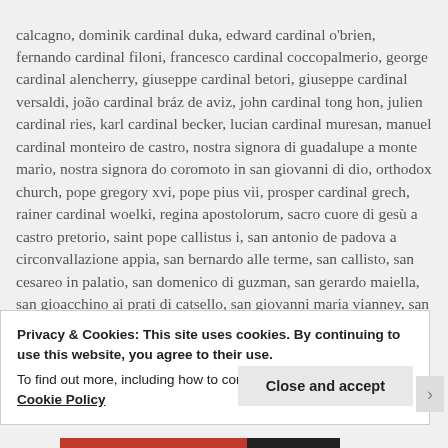calcagno, dominik cardinal duka, edward cardinal o'brien, fernando cardinal filoni, francesco cardinal coccopalmerio, george cardinal alencherry, giuseppe cardinal betori, giuseppe cardinal versaldi, joão cardinal bráz de aviz, john cardinal tong hon, julien cardinal ries, karl cardinal becker, lucian cardinal muresan, manuel cardinal monteiro de castro, nostra signora di guadalupe a monte mario, nostra signora do coromoto in san giovanni di dio, orthodox church, pope gregory xvi, pope pius vii, prosper cardinal grech, rainer cardinal woelki, regina apostolorum, sacro cuore di gesù a castro pretorio, saint pope callistus i, san antonio de padova a circonvallazione appia, san bernardo alle terme, san callisto, san cesareo in palatio, san domenico di guzman, san gerardo maiella, san gioacchino ai prati di catsello, san giovanni maria vianney, san giuliano martire, san giuseppe all' aurelio, san marcello, san patrizio, san ponziano, san sebastiano al palatino, san teodoro, san' elena fuori porta prenestina, sant' atanasio, santi marcellino e pietro, santissima
Privacy & Cookies: This site uses cookies. By continuing to use this website, you agree to their use.
To find out more, including how to control cookies, see here: Cookie Policy